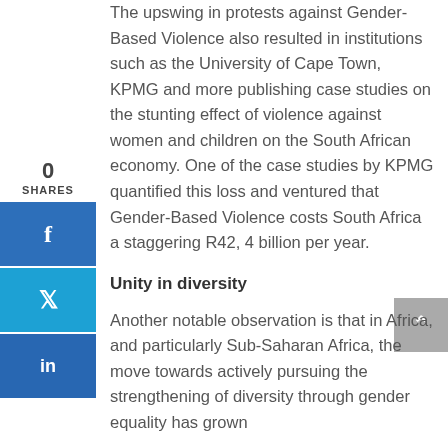The upswing in protests against Gender-Based Violence also resulted in institutions such as the University of Cape Town, KPMG and more publishing case studies on the stunting effect of violence against women and children on the South African economy. One of the case studies by KPMG quantified this loss and ventured that Gender-Based Violence costs South Africa a staggering R42, 4 billion per year.
Unity in diversity
Another notable observation is that in Africa, and particularly Sub-Saharan Africa, the move towards actively pursuing the strengthening of diversity through gender equality has grown